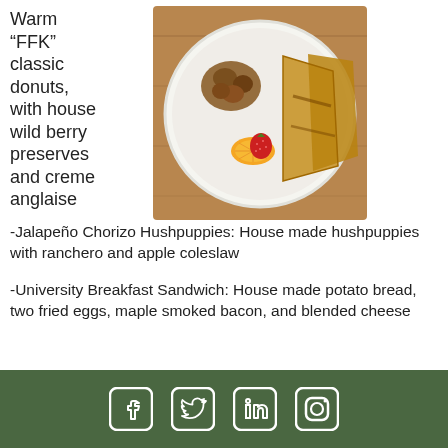Warm “FFK” classic donuts, with house wild berry preserves and creme anglaise
[Figure (photo): Overhead view of a white plate with toasted bread/french toast, roasted potatoes, a strawberry and orange slice garnish on a wooden table surface.]
-Jalapeño Chorizo Hushpuppies: House made hushpuppies with ranchero and apple coleslaw
-University Breakfast Sandwich: House made potato bread, two fried eggs, maple smoked bacon, and blended cheese
Social media icons: Facebook, Twitter, LinkedIn, Instagram